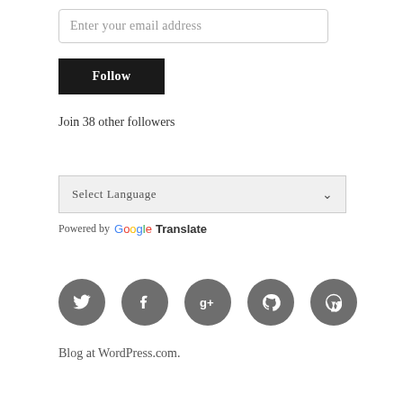Enter your email address
Follow
Join 38 other followers
Select Language
Powered by Google Translate
[Figure (illustration): Row of five dark grey circular social media icons: Twitter bird, Facebook f, Google+, GitHub octocat, WordPress logo]
Blog at WordPress.com.